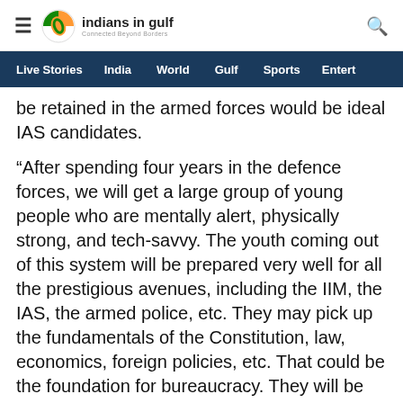indians in gulf — Connected Beyond Borders
Live Stories | India | World | Gulf | Sports | Entert
be retained in the armed forces would be ideal IAS candidates.
“After spending four years in the defence forces, we will get a large group of young people who are mentally alert, physically strong, and tech-savvy. The youth coming out of this system will be prepared very well for all the prestigious avenues, including the IIM, the IAS, the armed police, etc. They may pick up the fundamentals of the Constitution, law, economics, foreign policies, etc. That could be the foundation for bureaucracy. They will be the most competitive lot for the best government posts, including IAS and IPS,” said Srirangam.